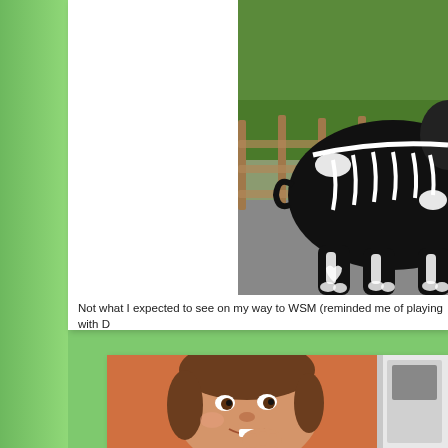[Figure (photo): A decorative elephant statue painted black with white skeleton bones pattern, standing on a paved path next to a wooden fence with green trees/hedges in the background.]
Not what I expected to see on my way to WSM (reminded me of playing with D
[Figure (photo): A young girl smiling, with brown hair, in front of an orange wall and indoor setting.]